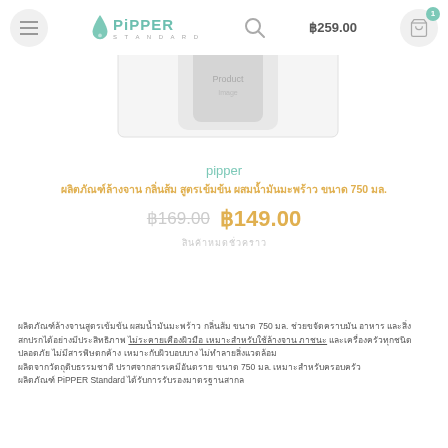Pipper Standard — ฿259.00
[Figure (photo): Product photo of Pipper Standard bottle/product on white background]
pipper
ผลิตภัณฑ์ล้างจาน กลิ่นส้ม สูตรเข้มข้น ผสมน้ำมันมะพร้าว ขนาด 750 มล.
฿169.00  ฿149.00
สินค้าหมดชั่วคราว
ผลิตภัณฑ์ล้างจานสูตรเข้มข้น ผสมน้ำมันมะพร้าว กลิ่นส้ม ขนาด 750 มล. ช่วยขจัดคราบมัน อาหาร และสิ่งสกปรกได้อย่างมีประสิทธิภาพ ไม่ระคายเคืองผิวมือ เหมาะสำหรับใช้ล้างจาน ภาชนะ และเครื่องครัวทุกชนิด ปลอดภัย ไม่มีสารพิษตกค้าง
อ่านเพิ่มเติม